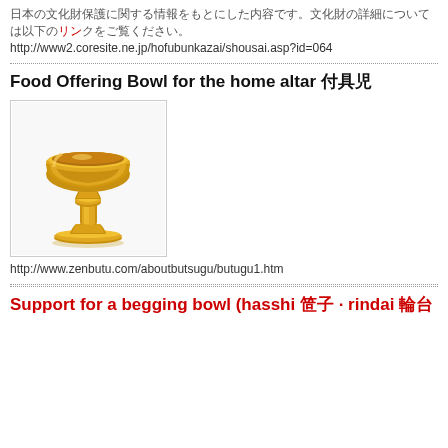日本の文化財保護に関する情報をもとにした内容です。文化財の詳細については以下のリンクをご覧ください。
http://www2.coresite.ne.jp/hofubunkazai/shousai.asp?id=064
Food Offering Bowl for the home altar 仏具
[Figure (photo): A golden food offering bowl (仏具) on a pedestal stand, photographed against a white background.]
http://www.zenbutu.com/aboutbutsugu/butugu1.htm
Support for a begging bowl (hasshi 箸, rindai 輪台